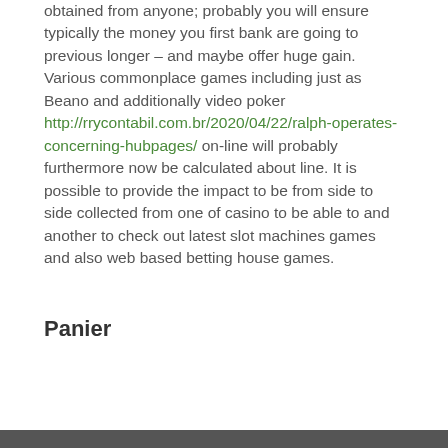obtained from anyone; probably you will ensure typically the money you first bank are going to previous longer – and maybe offer huge gain. Various commonplace games including just as Beano and additionally video poker http://rrycontabil.com.br/2020/04/22/ralph-operates-concerning-hubpages/ on-line will probably furthermore now be calculated about line. It is possible to provide the impact to be from side to side collected from one of casino to be able to and another to check out latest slot machines games and also web based betting house games.
Panier